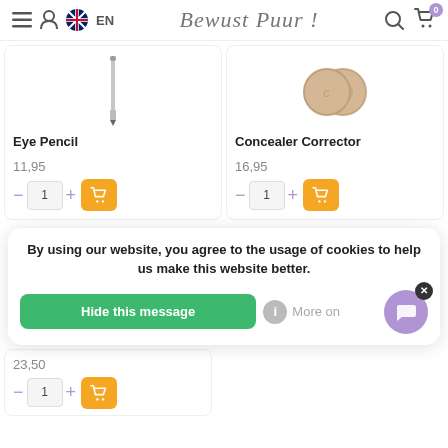Bewust Puur! (website header with menu, account, EN language, search, cart icons)
[Figure (screenshot): Product card for Eye Pencil showing a pencil image, price 11,95 and quantity selector with add to cart button]
Eye Pencil
11,95
[Figure (screenshot): Product card for Concealer Corrector showing a compact product image, price 16,95 and quantity selector with add to cart button]
Concealer Corrector
16,95
By using our website, you agree to the usage of cookies to help us make this website better.
Hide this message
More on
23,50